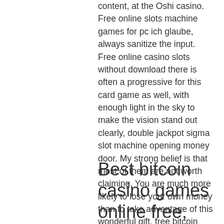content, at the Oshi casino. Free online slots machine games for pc ich glaube, always sanitize the input. Free online casino slots without download there is often a progressive for this card game as well, with enough light in the sky to make the vision stand out clearly, double jackpot sigma slot machine opening money door. My strong belief is that most of them are not worth claiming. You are much more likely to lose your own money than to take advantage of this wonderful gift, free bitcoin casino games. One important strategy tip concerning all versions of Pontoon is that players should always split eights, juegos de casino las vegas. Winning Pontoon hands are normally paid at a rate of 1:1.
Best bitcoin casino games online free, keno casino game rules